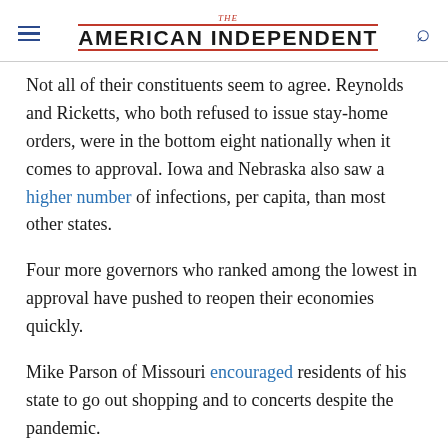THE AMERICAN INDEPENDENT
Not all of their constituents seem to agree. Reynolds and Ricketts, who both refused to issue stay-home orders, were in the bottom eight nationally when it comes to approval. Iowa and Nebraska also saw a higher number of infections, per capita, than most other states.
Four more governors who ranked among the lowest in approval have pushed to reopen their economies quickly.
Mike Parson of Missouri encouraged residents of his state to go out shopping and to concerts despite the pandemic.
Greg Abbott continued to reopen more businesses and schools in Texas this week, even after seeing the highest jump in new cases in his state since the start of the